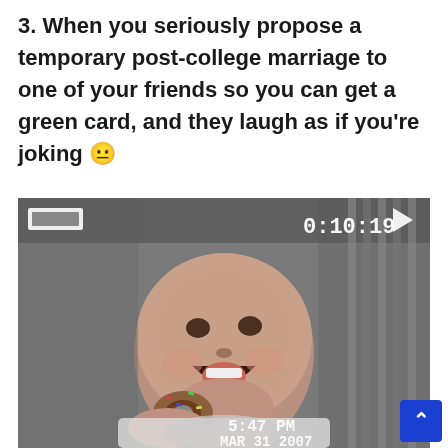3. When you seriously propose a temporary post-college marriage to one of your friends so you can get a green card, and they laugh as if you're joking 😐
[Figure (photo): A vintage VHS video still of a laughing baby/toddler sitting in a chair, holding what appears to be a donut or snack. The image has VHS timestamp overlays showing '0:10:19' at the top right and '5:47 PM MAR 31 2007' at the bottom. There is a VHS tape icon in the upper left and a play button triangle in the upper right of the frame.]